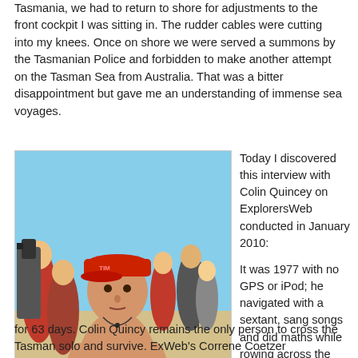Tasmania, we had to return to shore for adjustments to the front cockpit I was sitting in. The rudder cables were cutting into my knees. Once on shore we were served a summons by the Tasmanian Police and forbidden to make another attempt on the Tasman Sea from Australia. That was a bitter disappointment but gave me an understanding of immense sea voyages.
[Figure (photo): Shirtless young man wearing a red cap, holding food wrapped in foil, surrounded by a crowd of people outdoors on a beach or sandy area.]
Today I discovered this interview with Colin Quincey on ExplorersWeb conducted in January 2010:
It was 1977 with no GPS or iPod; he navigated with a sextant, sang songs and did maths while rowing across the Tasman Sea for 63 days. Colin Quincy remains the only person to cross the Tasman solo and survive. ExWeb's Correne Coetzer